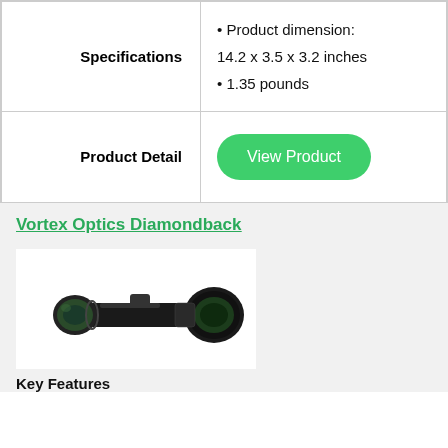|  |  |
| --- | --- |
| Specifications | • Product dimension:
14.2 x 3.5 x 3.2 inches
• 1.35 pounds |
| Product Detail | [View Product button] |
Vortex Optics Diamondback
[Figure (photo): Photo of a Vortex Optics Diamondback rifle scope, black, angled view showing the objective lens and eyepiece against a white background.]
Key Features